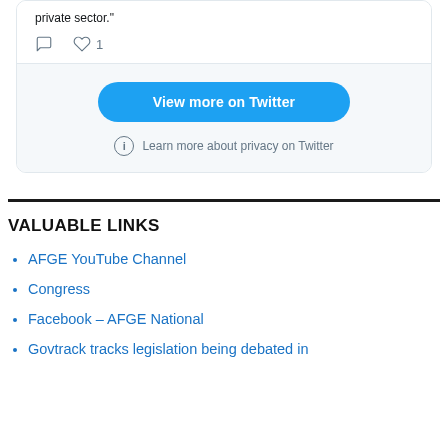[Figure (screenshot): Twitter widget showing tweet footer with comment icon, heart icon with count 1, a blue 'View more on Twitter' button, and privacy note 'Learn more about privacy on Twitter']
VALUABLE LINKS
AFGE YouTube Channel
Congress
Facebook – AFGE National
Govtrack tracks legislation being debated in